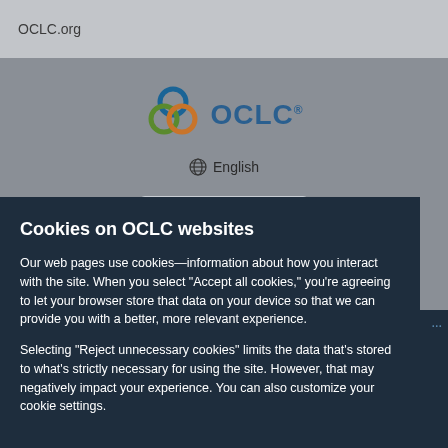OCLC.org
[Figure (logo): OCLC logo with three interlocking circles in blue, green, and orange, followed by the text 'OCLC' in dark blue]
🌐 English
Release Notes
System Status Dashboard
Contact OCLC Support
Cookies on OCLC websites
Our web pages use cookies—information about how you interact with the site. When you select “Accept all cookies,” you're agreeing to let your browser store that data on your device so that we can provide you with a better, more relevant experience.
Selecting “Reject unnecessary cookies” limits the data that’s stored to what’s strictly necessary for using the site. However, that may negatively impact your experience. You can also customize your cookie settings.